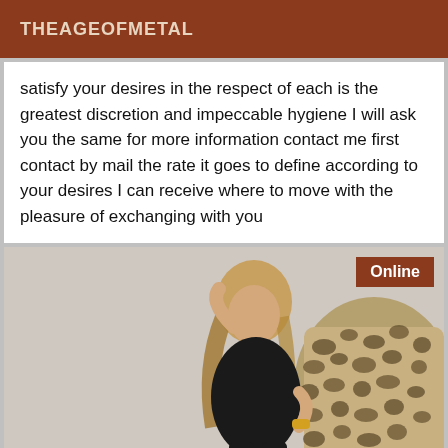THEAGEOFMETAL
satisfy your desires in the respect of each is the greatest discretion and impeccable hygiene I will ask you the same for more information contact me first contact by mail the rate it goes to define according to your desires I can receive where to move with the pleasure of exchanging with you
[Figure (photo): Photo of a woman posing on a chair with animal print upholstery, with an 'Online' badge in the top right corner]